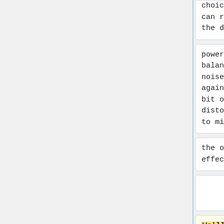choice. We can reduce the dither's
choice. We can reduce the dither's
power to balance less noise against a bit of distortion to minimize
power to balance less noise against a bit of distortion to minimize
the overall effect.
the overall effect.
We'll also [[WikiPedia:Amplitude_modulation|modulate the input signal...
For the next test, we also [[WikiPedia:Amplitude_modulation|modulate the...